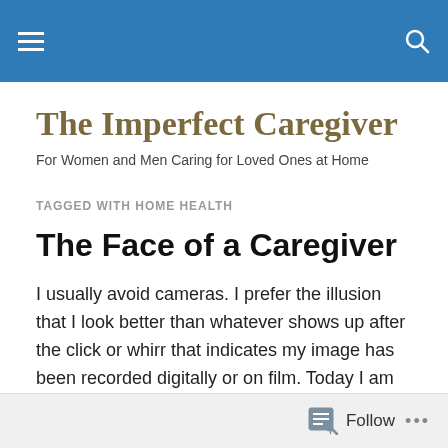The Imperfect Caregiver [navigation header bar]
The Imperfect Caregiver
For Women and Men Caring for Loved Ones at Home
TAGGED WITH HOME HEALTH
The Face of a Caregiver
I usually avoid cameras. I prefer the illusion that I look better than whatever shows up after the click or whirr that indicates my image has been recorded digitally or on film. Today I am shedding my vanity to show you what the face
Follow ...